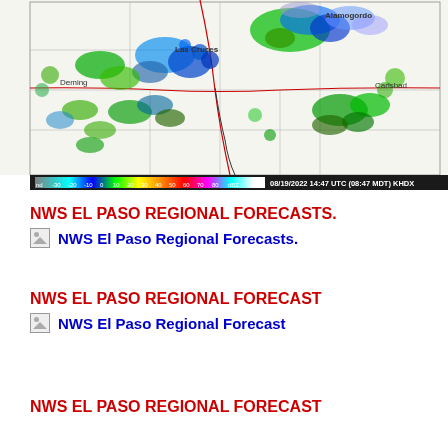[Figure (map): NWS radar map showing precipitation over the El Paso/Las Cruces/Alamogordo region dated 08/19/2022 14:47 UTC (08:47 MDT) KHDX. Color scale bar at bottom showing dBZ values from -30 to 80. Green and blue radar returns indicate precipitation cells across southern New Mexico and West Texas. City labels include Alamogordo, Las Cruces, Deming, Carlsbad.]
NWS EL PASO REGIONAL FORECASTS.
NWS El Paso Regional Forecasts.
NWS EL PASO REGIONAL FORECAST
NWS El Paso Regional Forecast
NWS EL PASO REGIONAL FORECAST